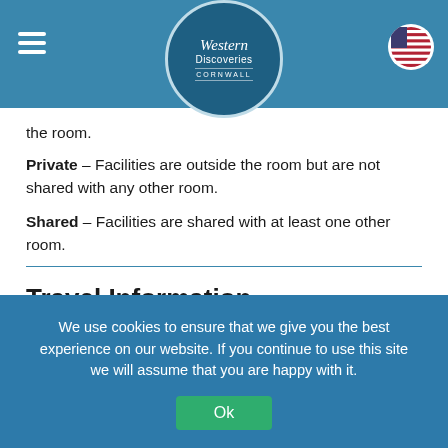Western Discoveries Cornwall (logo/navbar)
the room.
Private – Facilities are outside the room but are not shared with any other room.
Shared – Facilities are shared with at least one other room.
Travel Information
Airports
Most of our international clients arrive at one of London's major international airports (Heathrow or Gatwick) and then make their way to Cornwall by train (five hours 30 minutes
We use cookies to ensure that we give you the best experience on our website. If you continue to use this site we will assume that you are happy with it.